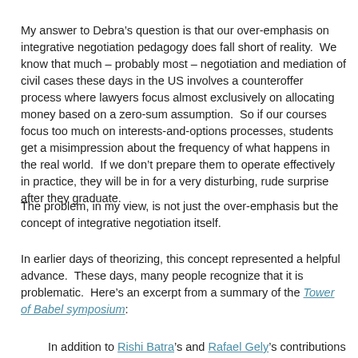My answer to Debra's question is that our over-emphasis on integrative negotiation pedagogy does fall short of reality.  We know that much – probably most – negotiation and mediation of civil cases these days in the US involves a counteroffer process where lawyers focus almost exclusively on allocating money based on a zero-sum assumption.  So if our courses focus too much on interests-and-options processes, students get a misimpression about the frequency of what happens in the real world.  If we don't prepare them to operate effectively in practice, they will be in for a very disturbing, rude surprise after they graduate.
The problem, in my view, is not just the over-emphasis but the concept of integrative negotiation itself.
In earlier days of theorizing, this concept represented a helpful advance.  These days, many people recognize that it is problematic.  Here's an excerpt from a summary of the Tower of Babel symposium:
In addition to Rishi Batra's and Rafael Gely's contributions in